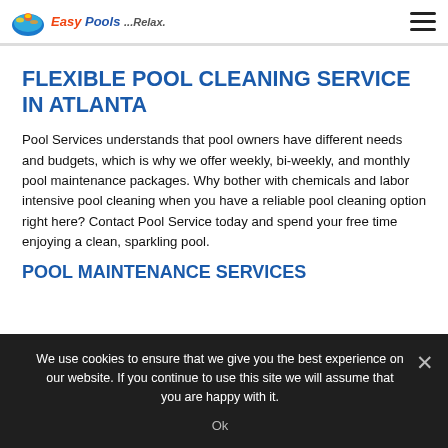Easy Pools ...Relax. [logo] [hamburger menu]
FLEXIBLE POOL CLEANING SERVICE IN ATLANTA
Pool Services understands that pool owners have different needs and budgets, which is why we offer weekly, bi-weekly, and monthly pool maintenance packages. Why bother with chemicals and labor intensive pool cleaning when you have a reliable pool cleaning option right here? Contact Pool Service today and spend your free time enjoying a clean, sparkling pool.
POOL MAINTENANCE SERVICES
We use cookies to ensure that we give you the best experience on our website. If you continue to use this site we will assume that you are happy with it.